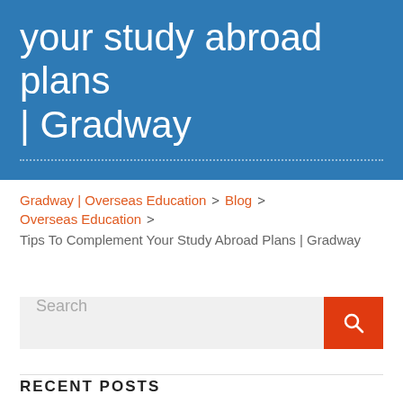your study abroad plans | Gradway
Gradway | Overseas Education > Blog > Overseas Education > Tips To Complement Your Study Abroad Plans | Gradway
[Figure (screenshot): Search bar with orange search button containing a magnifying glass icon]
RECENT POSTS
The Pros and Cons of Studying Abroad | Gradway